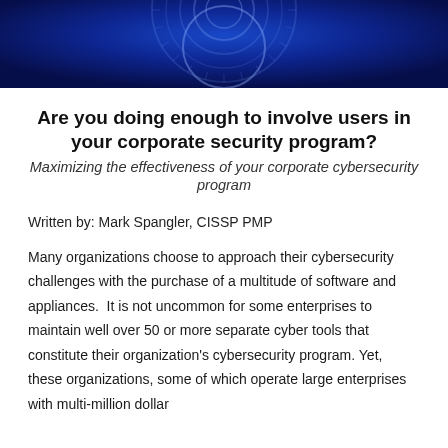[Figure (photo): Dark blue banner image with circular gear/vault design pattern in navy blue tones]
Are you doing enough to involve users in your corporate security program?
Maximizing the effectiveness of your corporate cybersecurity program
Written by: Mark Spangler, CISSP PMP
Many organizations choose to approach their cybersecurity challenges with the purchase of a multitude of software and appliances.  It is not uncommon for some enterprises to maintain well over 50 or more separate cyber tools that constitute their organization's cybersecurity program. Yet, these organizations, some of which operate large enterprises with multi-million dollar